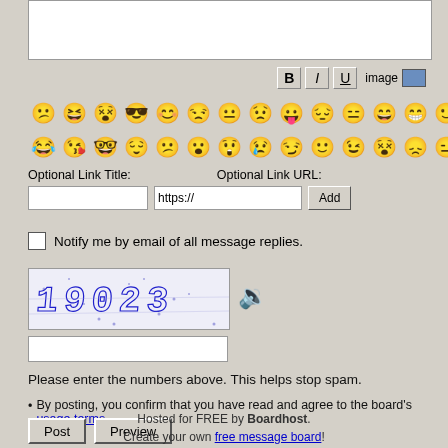[Figure (screenshot): Text area input box for composing message]
[Figure (screenshot): Formatting toolbar with Bold (B), Italic (I), Underline (U) buttons and image button]
[Figure (screenshot): Two rows of emoji/smiley face icons for message composition]
Optional Link Title: Optional Link URL:
[Figure (screenshot): Link title input field, link URL input field with https://, and Add button]
Notify me by email of all message replies.
[Figure (screenshot): CAPTCHA image with distorted blue numbers/letters on light background]
[Figure (screenshot): Audio CAPTCHA speaker icon]
[Figure (screenshot): CAPTCHA text input field]
Please enter the numbers above. This helps stop spam.
By posting, you confirm that you have read and agree to the board’s usage terms.
[Figure (screenshot): Post and Preview buttons]
Hosted for FREE by Boardhost. Create your own free message board!